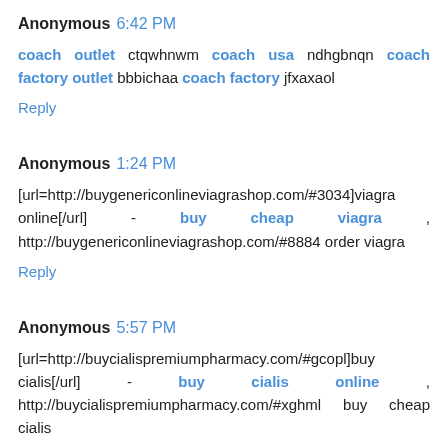Anonymous 6:42 PM
coach outlet ctqwhnwm coach usa ndhgbnqn coach factory outlet bbbichaa coach factory jfxaxaol
Reply
Anonymous 1:24 PM
[url=http://buygenericonlineviagrashop.com/#3034]viagra online[/url] - buy cheap viagra , http://buygenericonlineviagrashop.com/#8884 order viagra
Reply
Anonymous 5:57 PM
[url=http://buycialispremiumpharmacy.com/#gcopl]buy cialis[/url] - buy cialis online , http://buycialispremiumpharmacy.com/#xghml buy cheap cialis
Reply